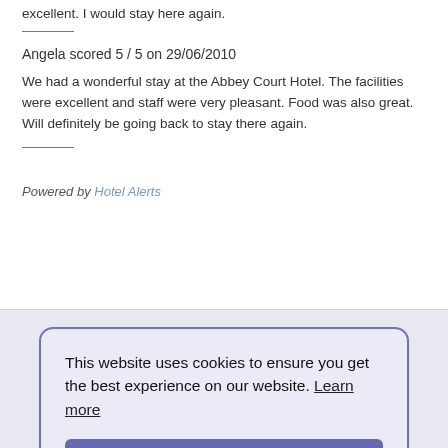excellent. I would stay here again.
Angela scored 5 / 5 on 29/06/2010
We had a wonderful stay at the Abbey Court Hotel. The facilities were excellent and staff were very pleasant. Food was also great. Will definitely be going back to stay there again.
Powered by Hotel Alerts
This website uses cookies to ensure you get the best experience on our website. Learn more
Got it!